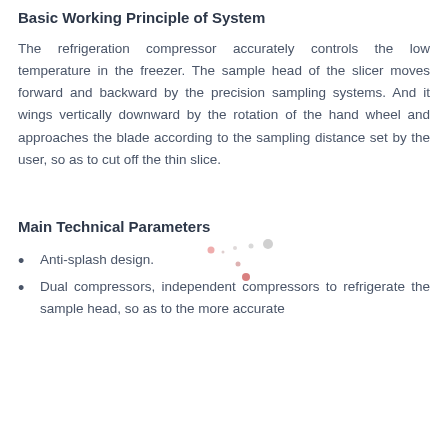Basic Working Principle of System
The refrigeration compressor accurately controls the low temperature in the freezer. The sample head of the slicer moves forward and backward by the precision sampling systems. And it wings vertically downward by the rotation of the hand wheel and approaches the blade according to the sampling distance set by the user, so as to cut off the thin slice.
Main Technical Parameters
Anti-splash design.
Dual compressors, independent compressors to refrigerate the sample head, so as to the more accurate